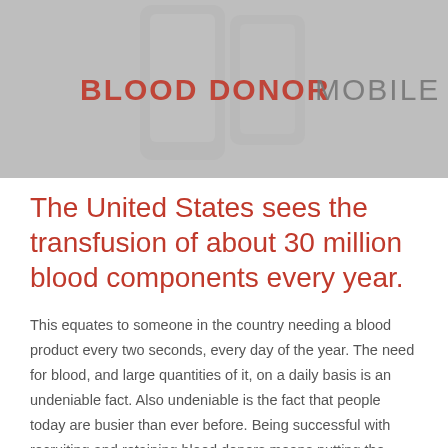[Figure (photo): Grayscale photo of a mobile phone/tablet device with the text overlay 'BLOOD DONOR MOBILE' — 'BLOOD DONOR' in red and 'MOBILE' in gray]
The United States sees the transfusion of about 30 million blood components every year.
This equates to someone in the country needing a blood product every two seconds, every day of the year. The need for blood, and large quantities of it, on a daily basis is an undeniable fact. Also undeniable is the fact that people today are busier than ever before. Being successful with recruiting and retaining blood donors means putting the information they